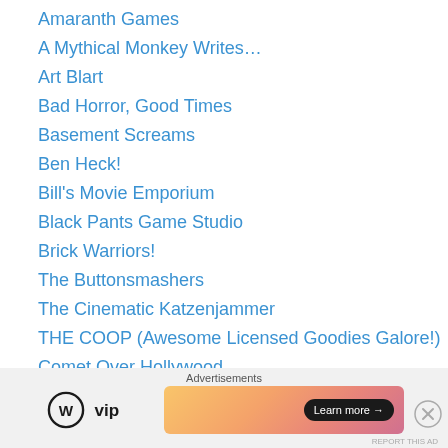Amaranth Games
A Mythical Monkey Writes…
Art Blart
Bad Horror, Good Times
Basement Screams
Ben Heck!
Bill's Movie Emporium
Black Pants Game Studio
Brick Warriors!
The Buttonsmashers
The Cinematic Katzenjammer
THE COOP (Awesome Licensed Goodies Galore!)
Comet Over Hollywood
The Daily Misfortune
Ditko Comics!
The Dreamcast Junkyard
Advertisements
[Figure (logo): WordPress VIP logo and Learn More advertisement banner]